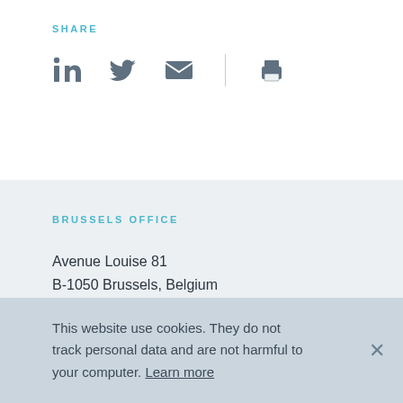SHARE
[Figure (infographic): Social share icons: LinkedIn, Twitter, Email, and Print, separated by a vertical divider line]
BRUSSELS OFFICE
Avenue Louise 81
B-1050 Brussels, Belgium
This website use cookies. They do not track personal data and are not harmful to your computer. Learn more